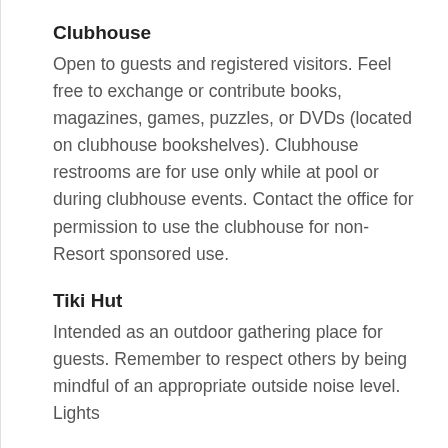Clubhouse
Open to guests and registered visitors. Feel free to exchange or contribute books, magazines, games, puzzles, or DVDs (located on clubhouse bookshelves). Clubhouse restrooms are for use only while at pool or during clubhouse events. Contact the office for permission to use the clubhouse for non-Resort sponsored use.
Tiki Hut
Intended as an outdoor gathering place for guests. Remember to respect others by being mindful of an appropriate outside noise level. Lights